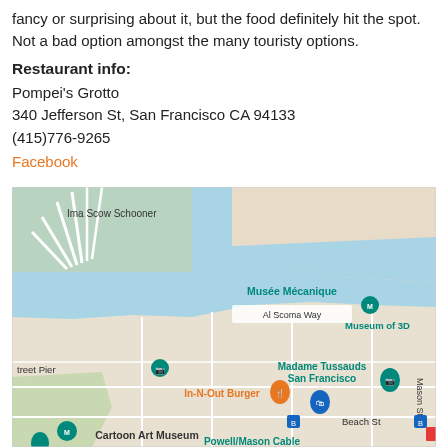fancy or surprising about it, but the food definitely hit the spot. Not a bad option amongst the many touristy options.
Restaurant info:
Pompei's Grotto
340 Jefferson St, San Francisco CA 94133
(415)776-9265
Facebook
[Figure (map): Google Maps screenshot showing the Fisherman's Wharf area in San Francisco, featuring landmarks including Musée Mécanique, Museum of 3D, Madame Tussauds San Francisco, In-N-Out Burger, Cartoon Art Museum, Al Scoma Way, Mason St, Beach St, and Powell/Mason Cable. The map shows streets, water, and piers.]